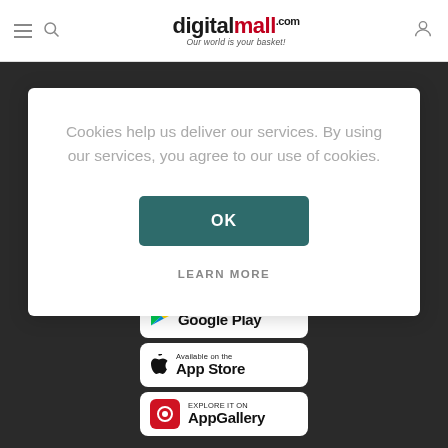digitalmall.com — Our world is your basket!
Cookies help us deliver our services. By using our services, you agree to our use of cookies.
OK
LEARN MORE
[Figure (screenshot): Google Play store badge]
[Figure (screenshot): App Store badge]
[Figure (screenshot): Huawei AppGallery badge]